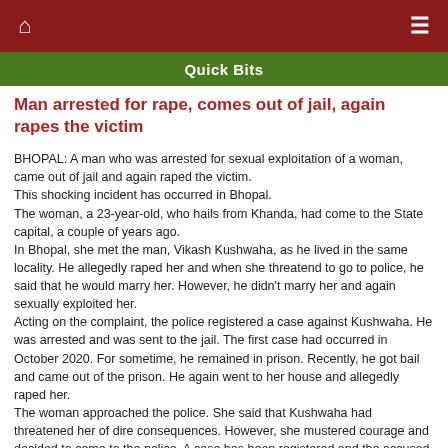Quick Bits
Man arrested for rape, comes out of jail, again rapes the victim
BHOPAL: A man who was arrested for sexual exploitation of a woman, came out of jail and again raped the victim.
This shocking incident has occurred in Bhopal.
The woman, a 23-year-old, who hails from Khanda, had come to the State capital, a couple of years ago.
In Bhopal, she met the man, Vikash Kushwaha, as he lived in the same locality. He allegedly raped her and when she threatend to go to police, he said that he would marry her. However, he didn't marry her and again sexually exploited her.
Acting on the complaint, the police registered a case against Kushwaha. He was arrested and was sent to the jail. The first case had occurred in October 2020. For sometime, he remained in prison. Recently, he got bail and came out of the prison. He again went to her house and allegedly raped her.
The woman approached the police. She said that Kushwaha had threatened her of dire consequences. However, she mustered courage and decided to come to the police. A case has been registered and the accused has been taken into custody. The police are conducting investigation.
[July 1, 2021 NewsBits.in]